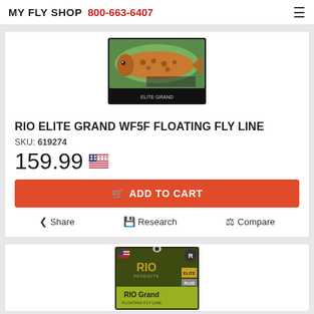MY FLY SHOP 800-663-6407
[Figure (photo): Product photo of RIO Elite Grand WF5F Floating Fly Line box with trout fish imagery]
RIO ELITE GRAND WF5F FLOATING FLY LINE
SKU: 619274
159.99
ADD TO CART
Share   Research   Compare
[Figure (photo): Partial photo of RIO Grand fly line product box, second product card, partially visible]